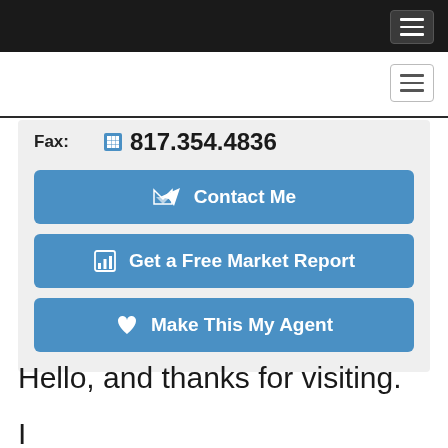Navigation menu (dark bar with hamburger button)
Navigation menu (light bar with hamburger button)
Fax: 817.354.4836
Contact Me
Get a Free Market Report
Make This My Agent
Hello, and thanks for visiting.
I...